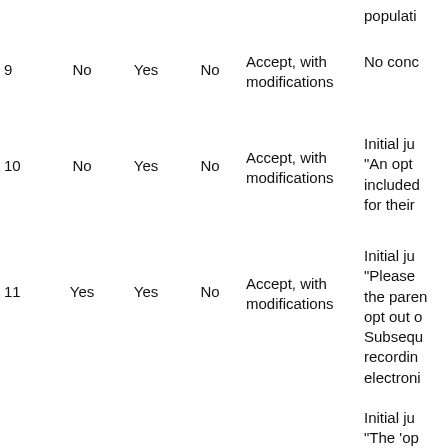|  |  |  |  |  |  |
| --- | --- | --- | --- | --- | --- |
|  |  |  |  |  | populati... |
| 9 | No | Yes | No | Accept, with modifications | No conc... |
| 10 | No | Yes | No | Accept, with modifications | Initial ju... "An opt included... for their... |
| 11 | Yes | Yes | No | Accept, with modifications | Initial ju... "Please ... the paren... opt out o... Subsequ... recordin... electroni... |
|  |  |  |  |  | Initial ju... "The 'op... mention... |